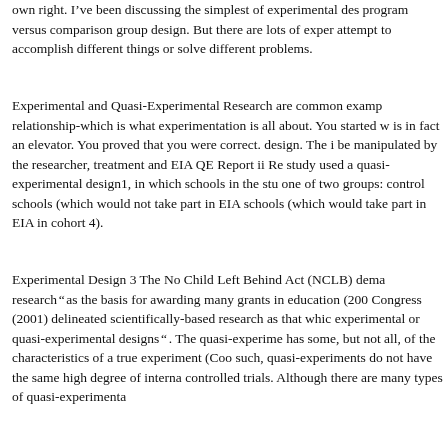own right. I've been discussing the simplest of experimental des program versus comparison group design. But there are lots of exper attempt to accomplish different things or solve different problems.
Experimental and Quasi-Experimental Research are common examp relationship-which is what experimentation is all about. You started w is in fact an elevator. You proved that you were correct. design. The i be manipulated by the researcher, treatment and EIA QE Report ii Re study used a quasi-experimental design1, in which schools in the stu one of two groups: control schools (which would not take part in EIA schools (which would take part in EIA in cohort 4).
Experimental Design 3 The No Child Left Behind Act (NCLB) dema researchВЂќ as the basis for awarding many grants in education (200 Congress (2001) delineated scientifically-based research as that whic experimental or quasi-experimental designsВЂќ. The quasi-experime has some, but not all, of the characteristics of a true experiment (Coo such, quasi-experiments do not have the same high degree of interna controlled trials. Although there are many types of quasi-experimenta